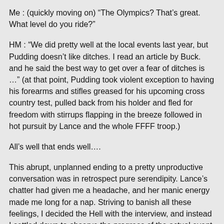Me : (quickly moving on) “The Olympics? That’s great. What level do you ride?”
HM : “We did pretty well at the local events last year, but Pudding doesn’t like ditches. I read an article by Buck. and he said the best way to get over a fear of ditches is …” (at that point, Pudding took violent exception to having his forearms and stifles greased for his upcoming cross country test, pulled back from his holder and fled for freedom with stirrups flapping in the breeze followed in hot pursuit by Lance and the whole FFFF troop.)
All’s well that ends well….
This abrupt, unplanned ending to a pretty unproductive conversation was in retrospect pure serendipity. Lance’s chatter had given me a headache, and her manic energy made me long for a nap. Striving to banish all these feelings, I decided the Hell with the interview, and instead I settled down to observe the progress of the actual event which amazingly enough, had found its equilibrium and was chugging along in fine form. I was happy to note that Lance